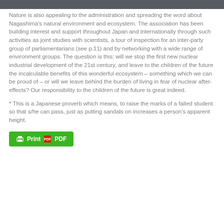Nature is also appealing to the administration and spreading the word about Nagashima’s natural environment and ecosystem. The association has been building interest and support throughout Japan and internationally through such activities as joint studies with scientists, a tour of inspection for an inter-party group of parliamentarians (see p.11) and by networking with a wide range of environment groups. The question is this: will we stop the first new nuclear industrial development of the 21st century, and leave to the children of the future the incalculable benefits of this wonderful ecosystem – something which we can be proud of – or will we leave behind the burden of living in fear of nuclear after-effects? Our responsibility to the children of the future is great indeed.
* This is a Japanese proverb which means, to raise the marks of a failed student so that s/he can pass, just as putting sandals on increases a person’s apparent height.
[Figure (other): Green Print/PDF button with printer and PDF icons]